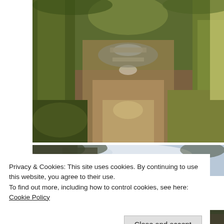[Figure (photo): A forest stream with moss-covered rocks and stones. Tall moss-covered tree trunks flank the shallow, brownish stream flowing over flat rocks. Lush green moss covers the boulders and embankments. Dappled light filters through the canopy above.]
[Figure (photo): Partial view of a landscape photo with trees against a cloudy sky, partially obscured by the cookie consent banner.]
Privacy & Cookies: This site uses cookies. By continuing to use this website, you agree to their use.
To find out more, including how to control cookies, see here: Cookie Policy
Close and accept
[Figure (photo): Bottom sliver of a third landscape photo, partially cut off.]